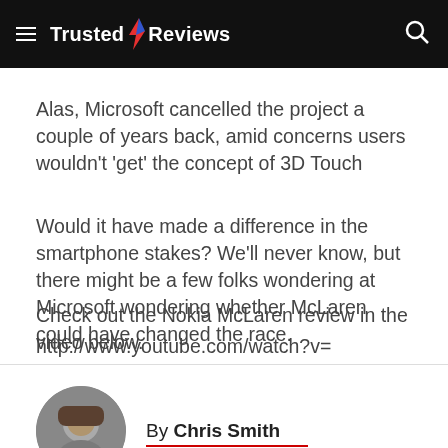Trusted Reviews
Alas, Microsoft cancelled the project a couple of years back, amid concerns users wouldn't 'get' the concept of 3D Touch
Would it have made a difference in the smartphone stakes? We'll never know, but there might be a few folks wondering at Microsoft wondering whether McLaren could have changed the race.
Check out the Nokia McLaren review in the video below.
http://www.youtube.com/watch?v=
By Chris Smith